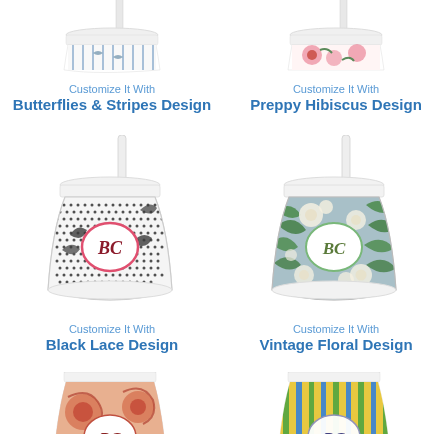[Figure (illustration): Monogrammed tumbler cup with Butterflies & Stripes design, partially visible at top]
Customize It With
Butterflies & Stripes Design
[Figure (illustration): Monogrammed tumbler cup with Preppy Hibiscus design, partially visible at top]
Customize It With
Preppy Hibiscus Design
[Figure (illustration): Monogrammed tumbler cup with Black Lace design, full cup shown with straw]
Customize It With
Black Lace Design
[Figure (illustration): Monogrammed tumbler cup with Vintage Floral design, full cup shown with straw]
Customize It With
Vintage Floral Design
[Figure (illustration): Monogrammed tumbler cup with orange/pink floral design, partially visible at bottom]
[Figure (illustration): Monogrammed tumbler cup with stripe design, partially visible at bottom]